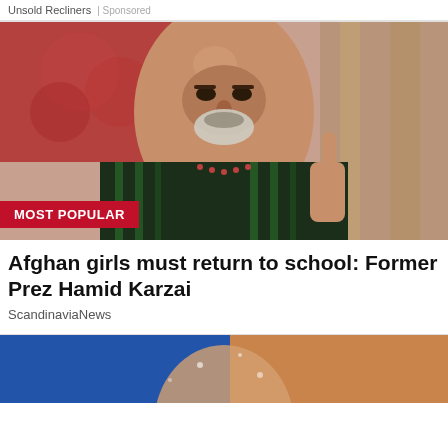Unsold Recliners | Sponsored
[Figure (photo): Photo of former Afghan President Hamid Karzai gesturing with his index finger, wearing a striped chapan robe, with an Afghan flag in the background. A red 'MOST POPULAR' badge appears in the lower left of the image.]
Afghan girls must return to school: Former Prez Hamid Karzai
ScandinaviaNews
[Figure (photo): Partial photo at bottom of page showing a person against a blue background, cropped.]